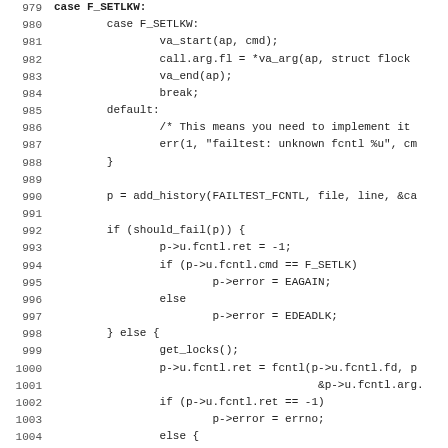[Figure (screenshot): Source code listing showing C code lines 980-1011, with line numbers on the left and code on the right in monospace font. The code shows a switch-case block with cases F_SETLKW and default, followed by logic for should_fail, get_locks, and add_lock.]